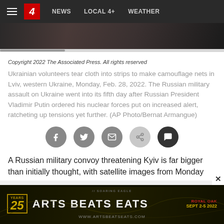≡  4  NEWS  LOCAL 4+  WEATHER
[Figure (photo): Partial hero image showing figures, dark-toned photograph]
Copyright 2022 The Associated Press. All rights reserved
Ukrainian volunteers tear cloth into strips to make camouflage nets in Lviv, western Ukraine, Monday, Feb. 28, 2022. The Russian military assault on Ukraine went into its fifth day after Russian President Vladimir Putin ordered his nuclear forces put on increased alert, ratcheting up tensions yet further. (AP Photo/Bernat Armangue)
[Figure (infographic): Social sharing icons: Facebook, Twitter, Email, Share, Comment]
A Russian military convoy threatening Kyiv is far bigger than initially thought, with satellite images from Monday
[Figure (infographic): Advertisement banner: ARTS BEATS EATS - 25 YEARS - ROYAL OAK SEPT 2-5 2022 - WWW.ARTSBEATSEATS.COM - Soaring Eagle sponsor]